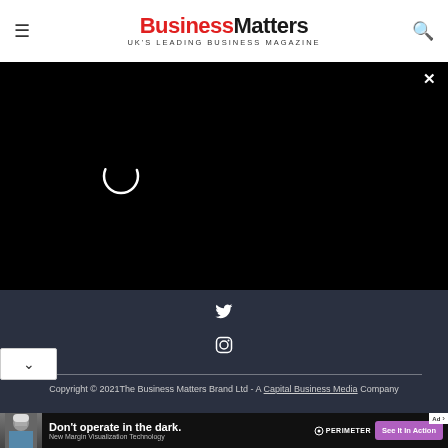Business Matters — UK'S LEADING BUSINESS MAGAZINE
[Figure (screenshot): Black video player area with loading spinner circle and X close button in top right]
[Figure (screenshot): Dark navy footer with Twitter and Instagram social icons, horizontal divider, copyright text: Copyright © 2021 The Business Matters Brand Ltd - A Capital Business Media Company]
[Figure (advertisement): Ad banner: Don't operate in the dark. New Margin Visualization Technology. Perimeter brand logo. See It In Action button. Surgeon photo on left.]